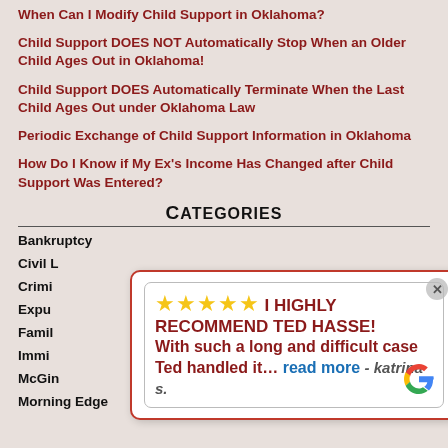When Can I Modify Child Support in Oklahoma?
Child Support DOES NOT Automatically Stop When an Older Child Ages Out in Oklahoma!
Child Support DOES Automatically Terminate When the Last Child Ages Out under Oklahoma Law
Periodic Exchange of Child Support Information in Oklahoma
How Do I Know if My Ex's Income Has Changed after Child Support Was Entered?
Categories
Bankruptcy
Civil L
Crimi
Expu
Famil
Immi
McGin
Morning Edge
[Figure (screenshot): Google review popup: 5 stars, 'I HIGHLY RECOMMEND TED HASSE! With such a long and difficult case Ted handled it... read more - katrina s.' with Google logo]